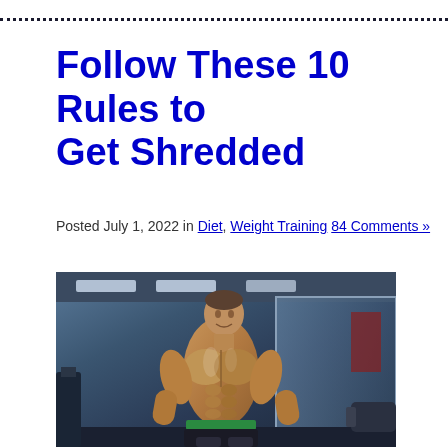dotted line separator
Follow These 10 Rules to Get Shredded
Posted July 1, 2022 in Diet, Weight Training 84 Comments »
[Figure (photo): A shredded muscular man without shirt posing in a gym environment with weights and mirrors in the background]